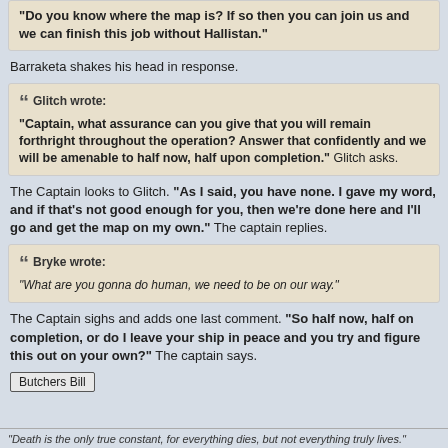"Do you know where the map is? If so then you can join us and we can finish this job without Hallistan."
Barraketa shakes his head in response.
Glitch wrote: "Captain, what assurance can you give that you will remain forthright throughout the operation? Answer that confidently and we will be amenable to half now, half upon completion." Glitch asks.
The Captain looks to Glitch. "As I said, you have none. I gave my word, and if that's not good enough for you, then we're done here and I'll go and get the map on my own." The captain replies.
Bryke wrote: "What are you gonna do human, we need to be on our way."
The Captain sighs and adds one last comment. "So half now, half on completion, or do I leave your ship in peace and you try and figure this out on your own?" The captain says.
Butchers Bill
"Death is the only true constant, for everything dies, but not everything truly lives."